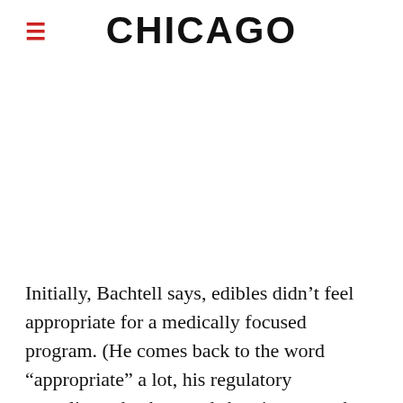CHICAGO
Initially, Bachtell says, edibles didn’t feel appropriate for a medically focused program. (He comes back to the word “appropriate” a lot, his regulatory compliance background showing; over the course of answering one question, he uses it nine times. “It’s kind of our guiding principle,” he explains.) Cresco was making medicine, and people don’t take medicine because of how it tastes